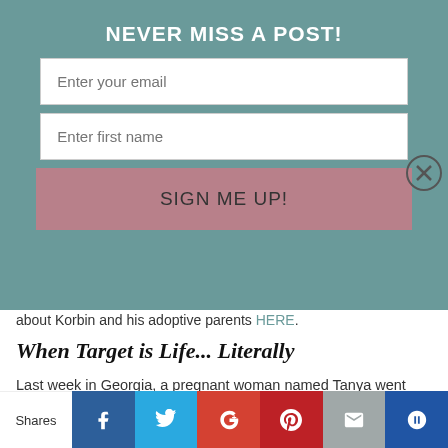NEVER MISS A POST!
Enter your email
Enter first name
SIGN ME UP!
about Korbin and his adoptive parents HERE.
When Target is Life... Literally
Last week in Georgia, a pregnant woman named Tanya went into labor while shopping at Target. To her luck, Caris – who just so happens to be a labor & delivery nurse – was shopping at the same Target, at the same time. Caris came to the rescue and with the help of a few Target employees – delivered Tanya's healthy baby boy. Proof that God places people in certain places at the right time! To read more about Tanya and Caris, click HERE.
Shares